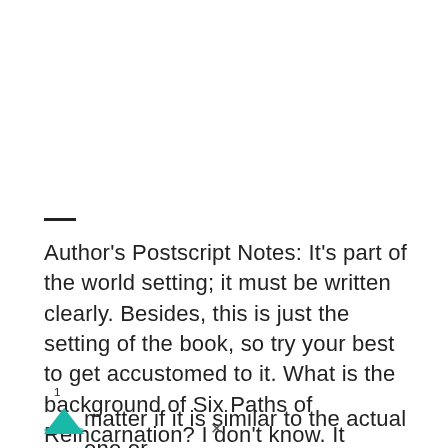—
Author's Postscript Notes: It's part of the world setting; it must be written clearly. Besides, this is just the setting of the book, so try your best to get accustomed to it. What is the background of Six Paths of Reincarnation? I don't know. It doesn't matter if it is similar to the actual one or